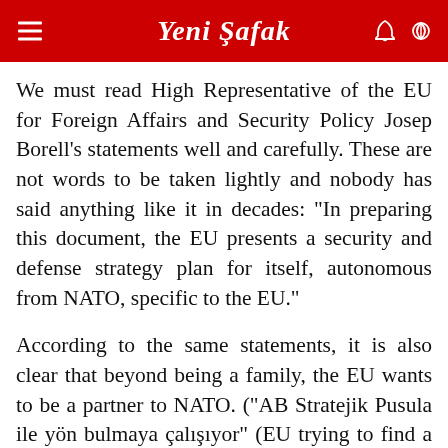Yeni Şafak
We must read High Representative of the EU for Foreign Affairs and Security Policy Josep Borell's statements well and carefully. These are not words to be taken lightly and nobody has said anything like it in decades: "In preparing this document, the EU presents a security and defense strategy plan for itself, autonomous from NATO, specific to the EU."
According to the same statements, it is also clear that beyond being a family, the EU wants to be a partner to NATO. ("AB Stratejik Pusula ile yön bulmaya çalışıyor" (EU trying to find a direction with the Strategic Compass),